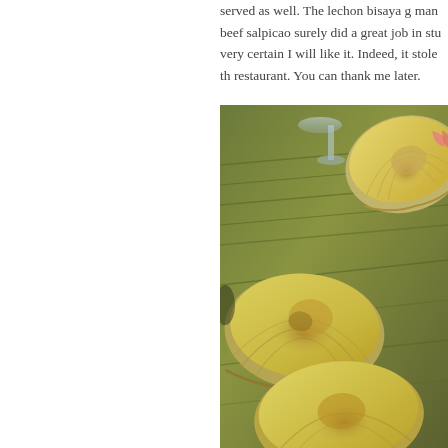served as well. The lechon bisaya g man beef salpicao surely did a great job in stu very certain I will like it. Indeed, it stole th restaurant. You can thank me later.
[Figure (photo): Close-up photo of baked scallops on the half shell, arranged on banana leaves on a platter. The scallops are topped with a golden, cheesy gratin topping with some garnishes including pink ginger and greens. A glass is visible in the background.]